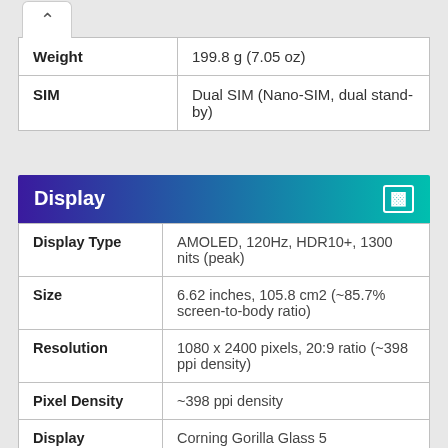| Attribute | Value |
| --- | --- |
| Weight | 199.8 g (7.05 oz) |
| SIM | Dual SIM (Nano-SIM, dual stand-by) |
| Display |  |
| --- | --- |
| Display Type | AMOLED, 120Hz, HDR10+, 1300 nits (peak) |
| Size | 6.62 inches, 105.8 cm2 (~85.7% screen-to-body ratio) |
| Resolution | 1080 x 2400 pixels, 20:9 ratio (~398 ppi density) |
| Pixel Density | ~398 ppi density |
| Display | Corning Gorilla Glass 5 |